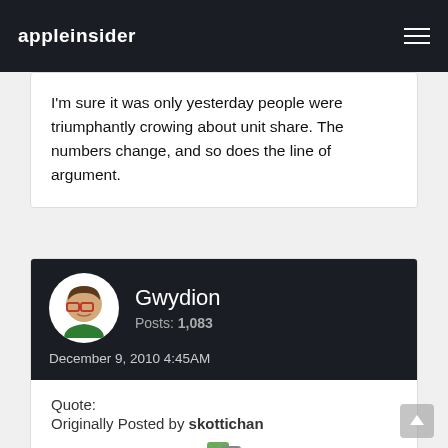appleinsider
I'm sure it was only yesterday people were triumphantly crowing about unit share. The numbers change, and so does the line of argument.
Gwydion
Posts: 1,083
December 9, 2010 4:45AM
Quote:
Originally Posted by skottichan
Did you actually read the article? The part where it said that it's estimated that there are 340,000 iOS devices activated a day.